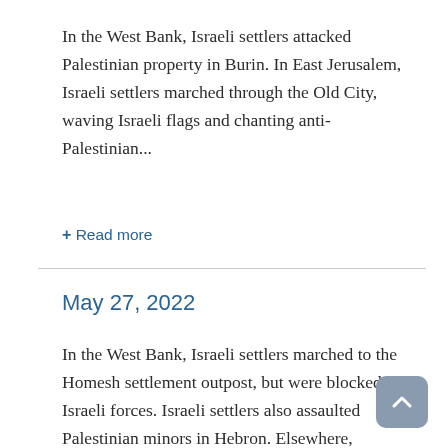In the West Bank, Israeli settlers attacked Palestinian property in Burin. In East Jerusalem, Israeli settlers marched through the Old City, waving Israeli flags and chanting anti-Palestinian...
+ Read more
May 27, 2022
In the West Bank, Israeli settlers marched to the Homesh settlement outpost, but were blocked by Israeli forces. Israeli settlers also assaulted Palestinian minors in Hebron. Elsewhere, Israeli...